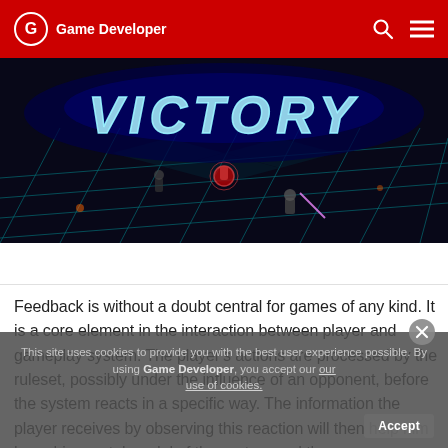Game Developer
[Figure (screenshot): A game screenshot showing the word VICTORY in large glowing blue neon letters over a dark isometric grid battlefield with characters/units visible.]
Feedback is without a doubt central for games of any kind. It is a core element in the interaction between player and gameplay system. The player's actions are processed by the ruleset, possibly under the influence of an opponent, before the system reacts in a specific way. The information the player receives by observing this reaction will then help him hone his mental model of the system and thus
This site uses cookies to provide you with the best user experience possible. By using Game Developer, you accept our use of cookies.